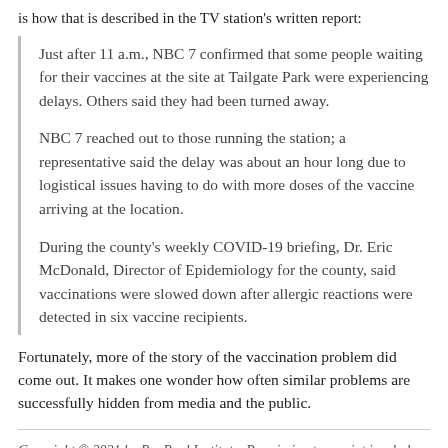is how that is described in the TV station's written report:
Just after 11 a.m., NBC 7 confirmed that some people waiting for their vaccines at the site at Tailgate Park were experiencing delays. Others said they had been turned away.
NBC 7 reached out to those running the station; a representative said the delay was about an hour long due to logistical issues having to do with more doses of the vaccine arriving at the location.
During the county's weekly COVID-19 briefing, Dr. Eric McDonald, Director of Epidemiology for the county, said vaccinations were slowed down after allergic reactions were detected in six vaccine recipients.
Fortunately, more of the story of the vaccination problem did come out. It makes one wonder how often similar problems are successfully hidden from media and the public.
Copyright © 2021 by RonPaul Institute. Permission to reprint in whole or in part is gladly granted, provided full credit and a live link are given.
Please donate to the Ron Paul Institute